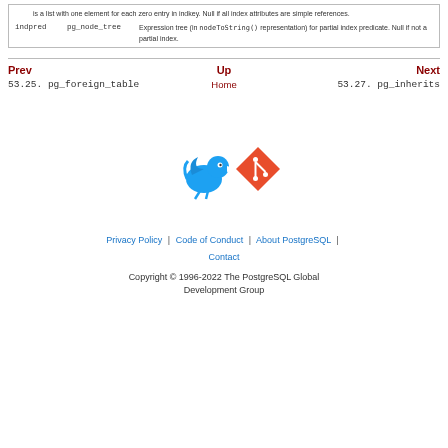| is a list with one element for each zero entry in indkey. Null if all index attributes are simple references. |
| indpred | pg_node_tree | Expression tree (in nodeToString() representation) for partial index predicate. Null if not a partial index. |
Prev | Up | Next
53.25. pg_foreign_table | Home | 53.27. pg_inherits
[Figure (illustration): Twitter bird icon (blue) and Git logo icon (red/orange diamond shape)]
Privacy Policy | Code of Conduct | About PostgreSQL | Contact
Copyright © 1996-2022 The PostgreSQL Global Development Group